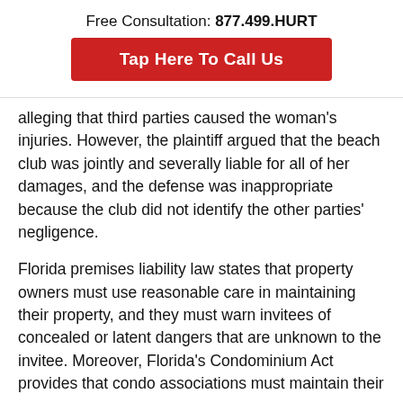Free Consultation: 877.499.HURT
Tap Here To Call Us
alleging that third parties caused the woman's injuries. However, the plaintiff argued that the beach club was jointly and severally liable for all of her damages, and the defense was inappropriate because the club did not identify the other parties' negligence.
Florida premises liability law states that property owners must use reasonable care in maintaining their property, and they must warn invitees of concealed or latent dangers that are unknown to the invitee. Moreover, Florida's Condominium Act provides that condo associations must maintain their